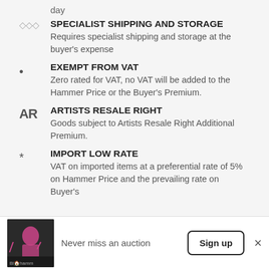day
◇◇◇ SPECIALIST SHIPPING AND STORAGE
Requires specialist shipping and storage at the buyer's expense
• EXEMPT FROM VAT
Zero rated for VAT, no VAT will be added to the Hammer Price or the Buyer's Premium.
AR ARTISTS RESALE RIGHT
Goods subject to Artists Resale Right Additional Premium.
* IMPORT LOW RATE
VAT on imported items at a preferential rate of 5% on Hammer Price and the prevailing rate on Buyer's
Never miss an auction